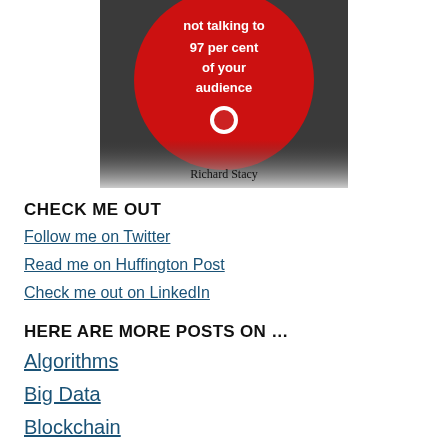[Figure (illustration): Book cover with red circle on dark grey background. White text reads 'not talking to 97 per cent of your audience' with a small tomato logo. Author name 'Richard Stacy' at bottom.]
CHECK ME OUT
Follow me on Twitter
Read me on Huffington Post
Check me out on LinkedIn
HERE ARE MORE POSTS ON …
Algorithms
Big Data
Blockchain
Communities